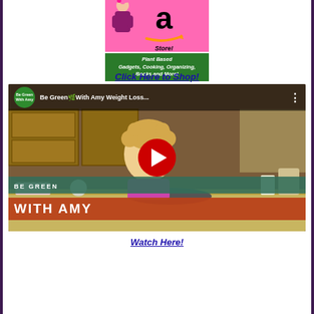[Figure (illustration): Amazon store promotional banner with pink background, Amazon logo with smile arrow, woman in floral dress, green section reading 'Plant Based Gadgets, Cooking, Organizing, Books and More!' with affiliate disclaimer text]
Click Here to Shop!
[Figure (screenshot): YouTube video thumbnail for 'Be Green With Amy Weight Loss...' showing a woman with curly hair in a kitchen, red play button, green 'BE GREEN' bar, orange-red 'WITH AMY' bar overlay]
Watch Here!